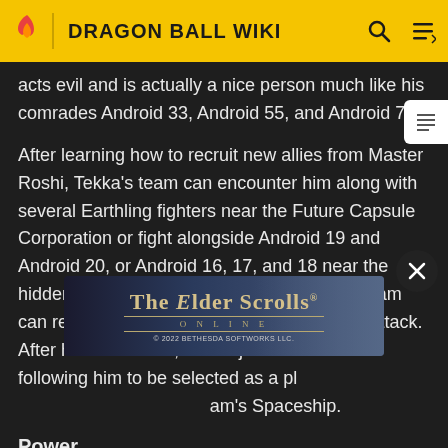DRAGON BALL WIKI
acts evil and is actually a nice person much like his comrades Android 33, Android 55, and Android 76.
After learning how to recruit new allies from Master Roshi, Tekka's team can encounter him along with several Earthling fighters near the Future Capsule Corporation or fight alongside Android 19 and Android 20, or Android 16, 17, and 18 near the hidden entrance to Dr. Gero's Lab. Tekka's team can recruit him by KO'ing him with a Zenkai Attack. After he is recruited, he will join Tekka's team following him to be selected as a player and will be added to Tekka's team's Spaceship.
[Figure (screenshot): The Elder Scrolls Online advertisement banner by Bethesda Softworks LLC 2022]
Power